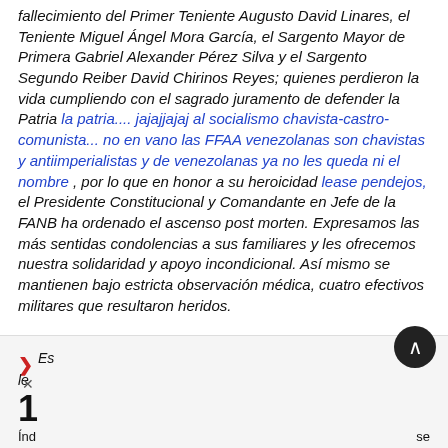fallecimiento del Primer Teniente Augusto David Linares, el Teniente Miguel Ángel Mora García, el Sargento Mayor de Primera Gabriel Alexander Pérez Silva y el Sargento Segundo Reiber David Chirinos Reyes; quienes perdieron la vida cumpliendo con el sagrado juramento de defender la Patria la patria.... jajajjajaj al socialismo chavista-castro-comunista... no en vano las FFAA venezolanas son chavistas y antiimperialistas y de venezolanas ya no les queda ni el nombre , por lo que en honor a su heroicidad lease pendejos, el Presidente Constitucional y Comandante en Jefe de la FANB ha ordenado el ascenso post morten. Expresamos las más sentidas condolencias a sus familiares y les ofrecemos nuestra solidaridad y apoyo incondicional. Así mismo se mantienen bajo estricta observación médica, cuatro efectivos militares que resultaron heridos.